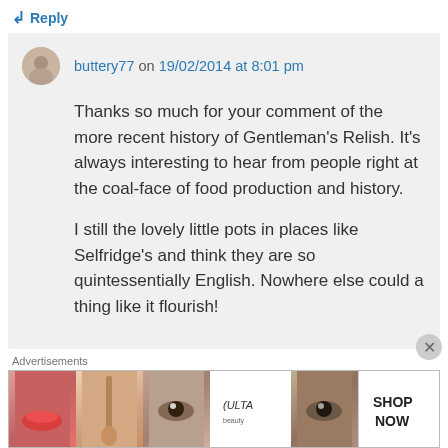↲ Reply
buttery77 on 19/02/2014 at 8:01 pm
Thanks so much for your comment of the more recent history of Gentleman's Relish. It's always interesting to hear from people right at the coal-face of food production and history.

I still the lovely little pots in places like Selfridge's and think they are so quintessentially English. Nowhere else could a thing like it flourish!
Advertisements
[Figure (screenshot): ULTA beauty advertisement banner with makeup imagery and SHOP NOW button]